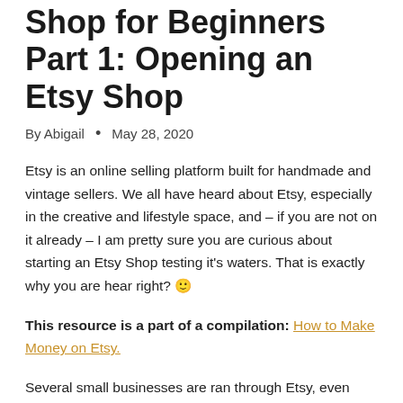Shop for Beginners Part 1: Opening an Etsy Shop
By Abigail • May 28, 2020
Etsy is an online selling platform built for handmade and vintage sellers. We all have heard about Etsy, especially in the creative and lifestyle space, and – if you are not on it already – I am pretty sure you are curious about starting an Etsy Shop testing it's waters. That is exactly why you are hear right? 🙂
This resource is a part of a compilation: How to Make Money on Etsy.
Several small businesses are ran through Etsy, even